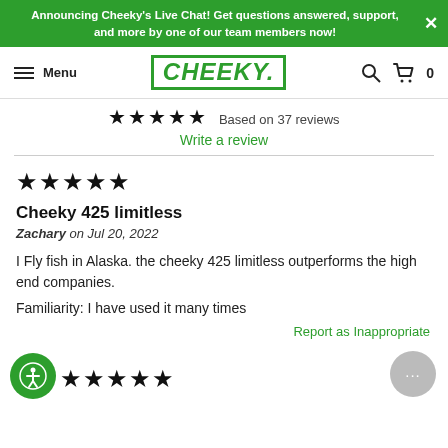Announcing Cheeky's Live Chat! Get questions answered, support, and more by one of our team members now!
[Figure (screenshot): Cheeky website navigation bar with hamburger menu, Menu text, Cheeky logo in green, search icon, cart icon with 0 items]
★★★★★ Based on 37 reviews
Write a review
★★★★★
Cheeky 425 limitless
Zachary on Jul 20, 2022
I Fly fish in Alaska. the cheeky 425 limitless outperforms the high end companies.
Familiarity: I have used it many times
Report as Inappropriate
★★★★★